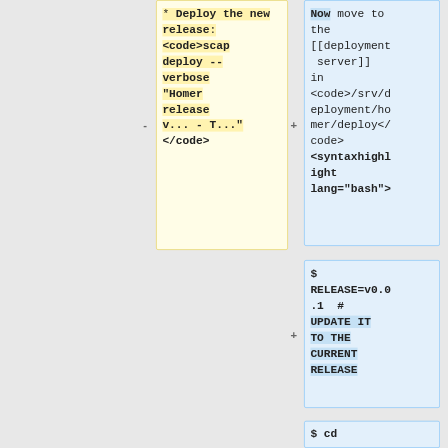* Deploy the new release: <code>scap deploy --verbose "Homer release v... - T..."</code></code>
Now move to the [[deployment server]] in <code>/srv/deployment/homer/deploy</code> <syntaxhighlight lang="bash">
$ RELEASE=v0.0.1  # UPDATE IT TO THE CURRENT RELEASE
$ cd